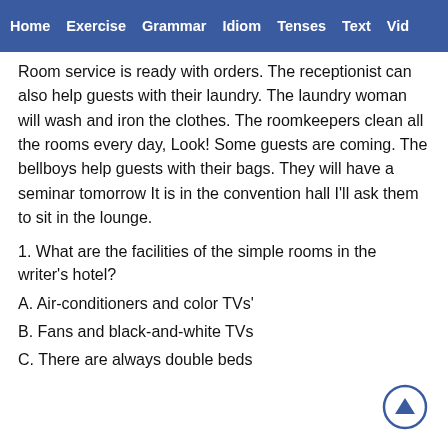Home  Exercise  Grammar  Idiom  Tenses  Text  Vid
Room service is ready with orders. The receptionist can also help guests with their laundry. The laundry woman will wash and iron the clothes. The roomkeepers clean all the rooms every day, Look! Some guests are coming. The bellboys help guests with their bags. They will have a seminar tomorrow It is in the convention hall I'll ask them to sit in the lounge.
1. What are the facilities of the simple rooms in the writer's hotel?
A. Air-conditioners and color TVs'
B. Fans and black-and-white TVs
C. There are always double beds